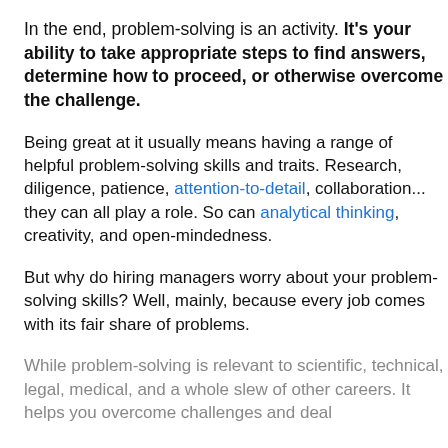In the end, problem-solving is an activity. It's your ability to take appropriate steps to find answers, determine how to proceed, or otherwise overcome the challenge.
Being great at it usually means having a range of helpful problem-solving skills and traits. Research, diligence, patience, attention-to-detail, collaboration... they can all play a role. So can analytical thinking, creativity, and open-mindedness.
But why do hiring managers worry about your problem-solving skills? Well, mainly, because every job comes with its fair share of problems.
While problem-solving is relevant to scientific, technical, legal, medical, and a whole slew of other careers. It helps you overcome challenges and deal...